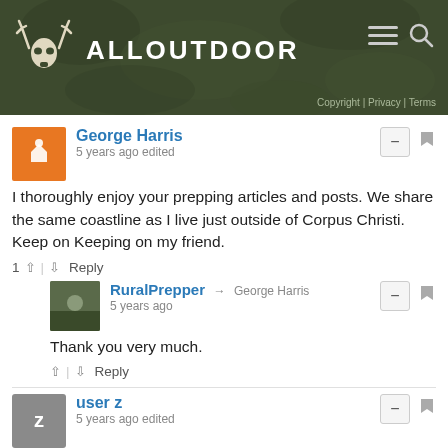ALLOUTDOOR | Copyright | Privacy | Terms
George Harris
5 years ago edited
I thoroughly enjoy your prepping articles and posts. We share the same coastline as I live just outside of Corpus Christi. Keep on Keeping on my friend.
1 ↑ | ↓ Reply
RuralPrepper → George Harris
5 years ago
Thank you very much.
↑ | ↓ Reply
user z
5 years ago edited
Unless deer are overpopulated in which case killing a deer or groundhog is about the same to me. Both are pests.